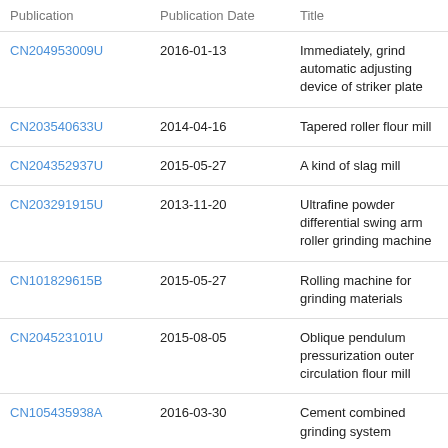| Publication | Publication Date | Title |
| --- | --- | --- |
| CN204953009U | 2016-01-13 | Immediately, grind automatic adjusting device of striker plate |
| CN203540633U | 2014-04-16 | Tapered roller flour mill |
| CN204352937U | 2015-05-27 | A kind of slag mill |
| CN203291915U | 2013-11-20 | Ultrafine powder differential swing arm roller grinding machine |
| CN101829615B | 2015-05-27 | Rolling machine for grinding materials |
| CN204523101U | 2015-08-05 | Oblique pendulum pressurization outer circulation flour mill |
| CN105435938A | 2016-03-30 | Cement combined grinding system |
| CN105855030B | 2019-03-12 | Ceramic raw material roller mill electric and |